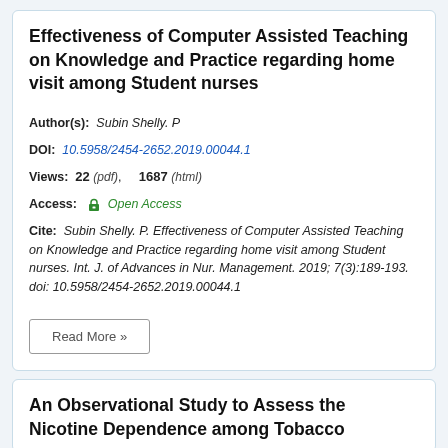Effectiveness of Computer Assisted Teaching on Knowledge and Practice regarding home visit among Student nurses
Author(s): Subin Shelly. P
DOI: 10.5958/2454-2652.2019.00044.1
Views: 22 (pdf), 1687 (html)
Access: Open Access
Cite: Subin Shelly. P. Effectiveness of Computer Assisted Teaching on Knowledge and Practice regarding home visit among Student nurses. Int. J. of Advances in Nur. Management. 2019; 7(3):189-193. doi: 10.5958/2454-2652.2019.00044.1
Read More »
An Observational Study to Assess the Nicotine Dependence among Tobacco